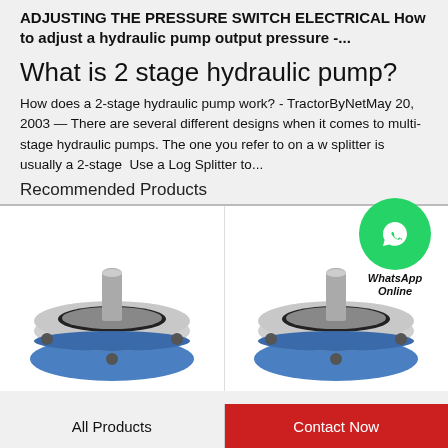ADJUSTING THE PRESSURE SWITCH ELECTRICAL How to adjust a hydraulic pump output pressure -...
What is 2 stage hydraulic pump?
How does a 2-stage hydraulic pump work? - TractorByNetMay 20, 2003 — There are several different designs when it comes to multi-stage hydraulic pumps. The one you refer to on a w splitter is usually a 2-stage  Use a Log Splitter to...
[Figure (logo): WhatsApp green circle icon with phone handset, labeled 'WhatsApp Online']
Recommended Products
[Figure (photo): Hydraulic pump component - top view showing metal disc with central shaft and blue base, left product]
[Figure (photo): Hydraulic pump component - top view showing metal disc with central shaft and blue base, right product]
All Products
Contact Now